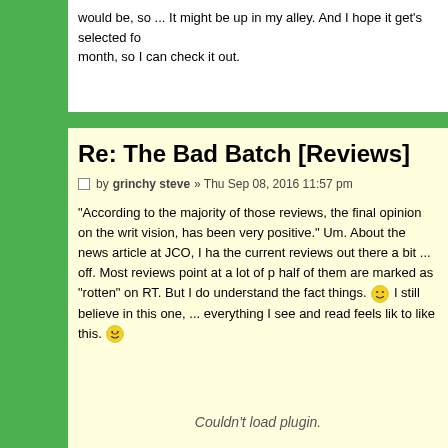would be, so ... It might be up in my alley. And I hope it get's selected fo month, so I can check it out.
Re: The Bad Batch [Reviews]
by grinchy steve » Thu Sep 08, 2016 11:57 pm
"According to the majority of those reviews, the final opinion on the writ vision, has been very positive." Um. About the news article at JCO, I ha the current reviews out there a bit ... off. Most reviews point at a lot of p half of them are marked as "rotten" on RT. But I do understand the fact things. I still believe in this one, ... everything I see and read feels lik to like this.
Couldn't load plugin.